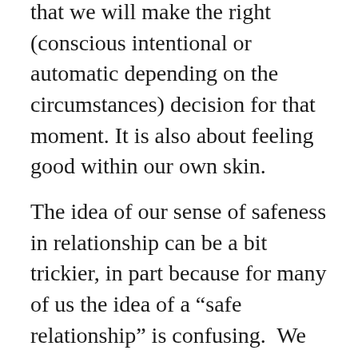that we will make the right (conscious intentional or automatic depending on the circumstances) decision for that moment. It is also about feeling good within our own skin.
The idea of our sense of safeness in relationship can be a bit trickier, in part because for many of us the idea of a “safe relationship” is confusing. We may think that to be in a safe relationship means that the other person will never ever cause us emotional harm. Here’s a thing though,